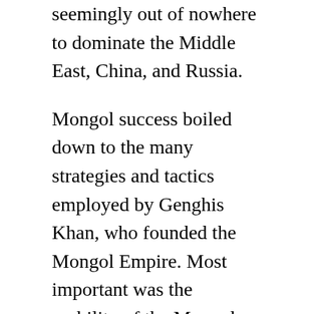seemingly out of nowhere to dominate the Middle East, China, and Russia.
Mongol success boiled down to the many strategies and tactics employed by Genghis Khan, who founded the Mongol Empire. Most important was the mobility of the Mongols and their endurance. To begin with, the nomadic Mongol way of life enabled them to move large armies across amazing distances in short times, as the Mongols could live off of their herds or the blood of their horses.
Indeed, the Mongols' mobility was enhanced by their heavy reliance on horses. Mongol Cavalrymen each maintained three or four horses